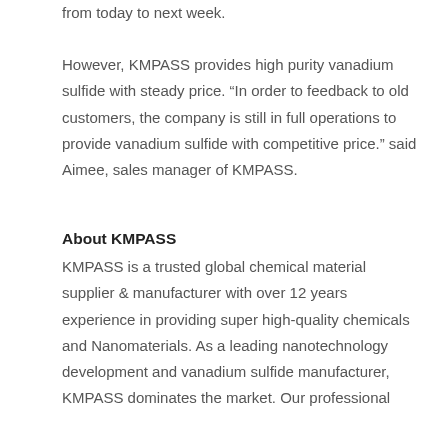from today to next week.
However, KMPASS provides high purity vanadium sulfide with steady price. “In order to feedback to old customers, the company is still in full operations to provide vanadium sulfide with competitive price.” said Aimee, sales manager of KMPASS.
About KMPASS
KMPASS is a trusted global chemical material supplier & manufacturer with over 12 years experience in providing super high-quality chemicals and Nanomaterials. As a leading nanotechnology development and vanadium sulfide manufacturer, KMPASS dominates the market. Our professional